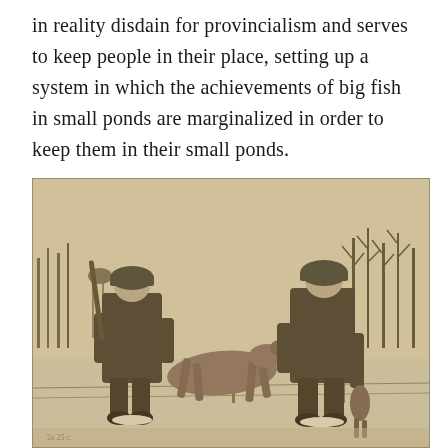in reality disdain for provincialism and serves to keep people in their place, setting up a system in which the achievements of big fish in small ponds are marginalized in order to keep them in their small ponds.
[Figure (photo): A sepia-toned historical photograph of two soldiers in military helmets and winter gear standing in a snowy field with bare trees in the background. They are holding a deer carcass between them — one soldier holds the front legs and the other holds the hind legs and tail. A rifle is visible on the left soldier's back.]